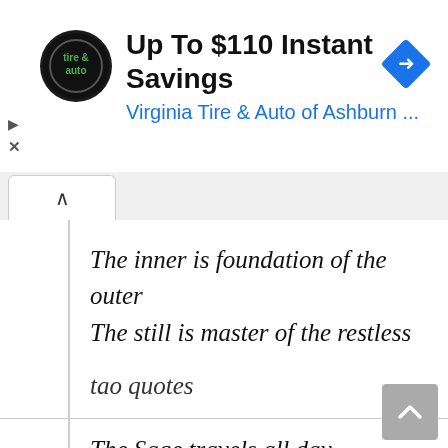[Figure (screenshot): Advertisement banner for Virginia Tire & Auto of Ashburn showing logo, title 'Up To $110 Instant Savings', subtitle link, and navigation arrow icon]
The inner is foundation of the outer
The still is master of the restless
tao quotes
The Sage travels all day yet never leaves his inner